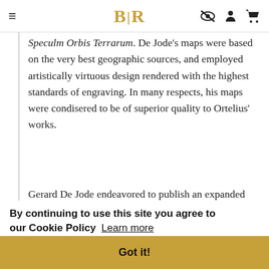BLR [navigation header with hamburger menu, logo, and icons]
Speculm Orbis Terrarum. De Jode's maps were based on the very best geographic sources, and employed artistically virtuous design rendered with the highest standards of engraving. In many respects, his maps were condisered to be of superior quality to Ortelius' works.
Gerard De Jode endeavored to publish an expanded second edtion of this atlas, the [obscured text] e
[partially obscured lines] le [partially obscured] ), [partially obscured] ;,
By continuing to use this site you agree to our Cookie Policy Learn more
Got it!
and few copies were ever issued